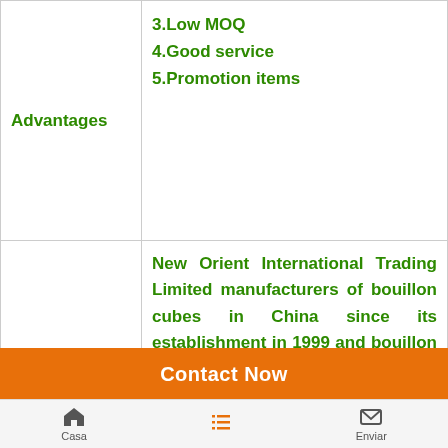|  |  |
| --- | --- |
| Advantages | 3.Low MOQ
4.Good service
5.Promotion items |
| About us | New Orient International Trading Limited manufacturers of bouillon cubes in China since its establishment in 1999 and bouillon powder is one of New Orient's main products years. We are specialized in doing different flavor and taste according to customer's |
Contact Now
Casa   Enviar